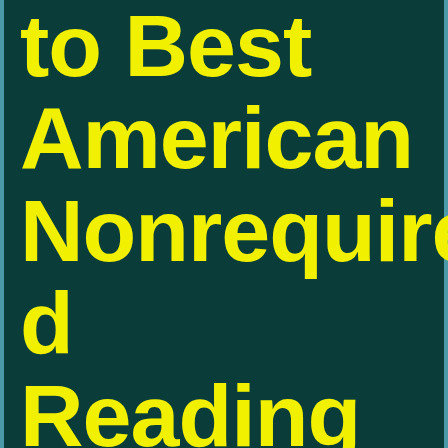to Best American Nonrequired Reading 2004